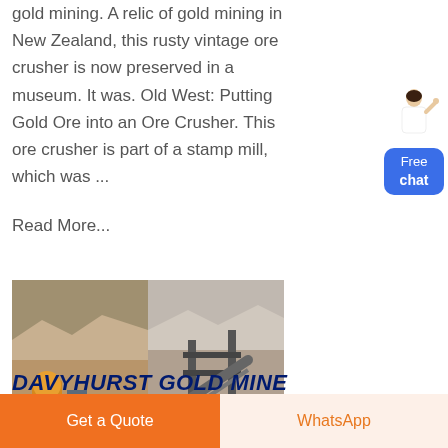gold mining. A relic of gold mining in New Zealand, this rusty vintage ore crusher is now preserved in a museum. It was. Old West: Putting Gold Ore into an Ore Crusher. This ore crusher is part of a stamp mill, which was ...
[Figure (illustration): Chat widget with female figure and blue 'Free chat' button]
Read More...
[Figure (photo): Two side-by-side photos of a gold mine with crushing equipment and industrial machinery in an open pit setting. FRMF watermark visible.]
DAVYHURST GOLD MINE
Get a Quote
WhatsApp